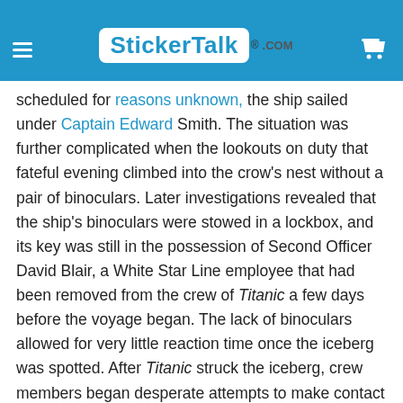StickerTalk.com
scheduled for reasons unknown, the ship sailed under Captain Edward Smith. The situation was further complicated when the lookouts on duty that fateful evening climbed into the crow's nest without a pair of binoculars. Later investigations revealed that the ship's binoculars were stowed in a lockbox, and its key was still in the possession of Second Officer David Blair, a White Star Line employee that had been removed from the crew of Titanic a few days before the voyage began. The lack of binoculars allowed for very little reaction time once the iceberg was spotted. After Titanic struck the iceberg, crew members began desperate attempts to make contact with surrounding ships. Although the Carpathia would eventually rescue Titanic's few survivors, another ship was even closer during Titanic's final moments: the Californian. However, the radio receivers on the Californian were shut off for the night, and the distress flares fired from Titanic's sinking